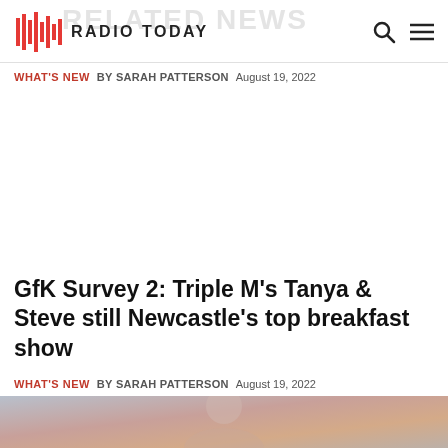RELATED NEWS — Radio Today
WHAT'S NEW  BY SARAH PATTERSON  August 19, 2022
GfK Survey 2: Triple M's Tanya & Steve still Newcastle's top breakfast show
WHAT'S NEW  BY SARAH PATTERSON  August 19, 2022
[Figure (photo): Partial thumbnail image at bottom of page, showing a person, cropped]